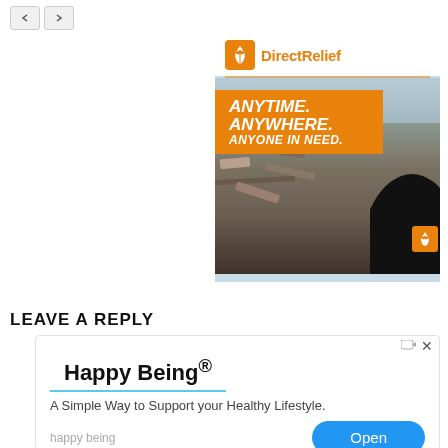[Figure (other): Navigation back/forward buttons in top left corner]
[Figure (other): Direct Relief charity advertisement with orange branding, disaster scene background, text 'ANYTIME. ANYWHERE. ANYONE IN NEED.']
LEAVE A REPLY
[Figure (other): Happy Being® advertisement with tagline 'A Simple Way to Support your Healthy Lifestyle.' and Open button]